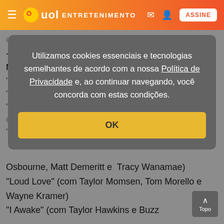UOL ENTRETENIMENTO
ROCK
"Drawing Flies" (com Taylor Momsen, Buzz Osbourne, Matt Demeritt e Tracy Wanamae)
"Loud Love" (com Taylor Momsen, Tom Morello e Wayne Kramer)
"I Awake" (com Taylor Hawkins e Buzz
[Figure (screenshot): Cookie consent modal dialog with text: Utilizamos cookies essenciais e tecnologias semelhantes de acordo com a nossa Política de Privacidade e, ao continuar navegando, você concorda com estas condições. OK button in yellow.]